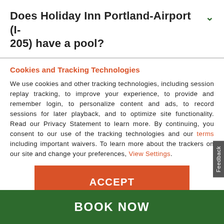Does Holiday Inn Portland-Airport (I-205) have a pool?
Cookies and Tracking Technologies
We use cookies and other tracking technologies, including session replay tracking, to improve your experience, to provide and remember login, to personalize content and ads, to record sessions for later playback, and to optimize site functionality. Read our Privacy Statement to learn more. By continuing, you consent to our use of the tracking technologies and our terms including important waivers. To learn more about the trackers on our site and change your preferences, View Settings.
ACCEPT
BOOK NOW